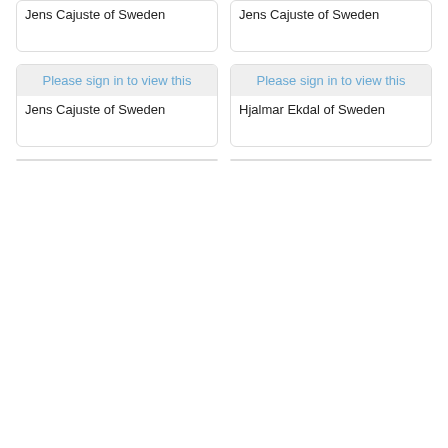[Figure (photo): Placeholder image card - top left]
Jens Cajuste of Sweden
[Figure (photo): Placeholder image card - top right]
Jens Cajuste of Sweden
[Figure (photo): Please sign in to view this - middle left]
Jens Cajuste of Sweden
[Figure (photo): Please sign in to view this - middle right]
Hjalmar Ekdal of Sweden
[Figure (photo): Placeholder image card - bottom left partial]
[Figure (photo): Placeholder image card - bottom right partial]